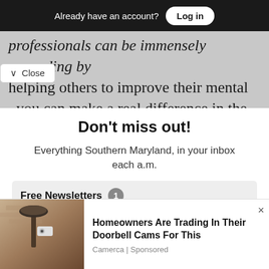Already have an account? Log in
professionals can be immensely rewarding by helping others to improve their mental you can make a real difference in the
Close
Don't miss out!
Everything Southern Maryland, in your inbox each a.m.
Free Newsletters 1
Daily Digest
A roundup of the latest news
Homeowners Are Trading In Their Doorbell Cams For This
Camerca | Sponsored